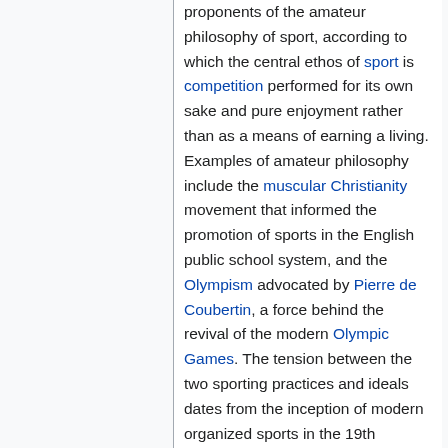proponents of the amateur philosophy of sport, according to which the central ethos of sport is competition performed for its own sake and pure enjoyment rather than as a means of earning a living. Examples of amateur philosophy include the muscular Christianity movement that informed the promotion of sports in the English public school system, and the Olympism advocated by Pierre de Coubertin, a force behind the revival of the modern Olympic Games. The tension between the two sporting practices and ideals dates from the inception of modern organized sports in the 19th century. The high political and financial stakes involved in sport have ensured that this tension has remained strong. Professional sporting organizations have often developed as